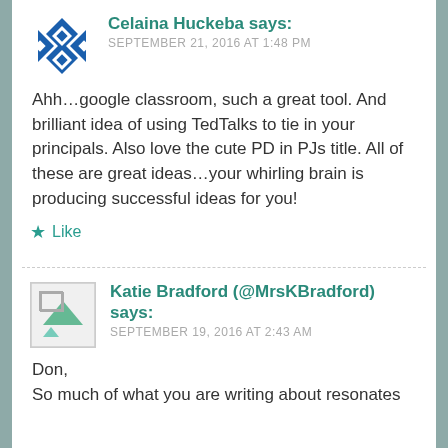Celaina Huckeba says:
SEPTEMBER 21, 2016 AT 1:48 PM
Ahh…google classroom, such a great tool. And brilliant idea of using TedTalks to tie in your principals. Also love the cute PD in PJs title. All of these are great ideas…your whirling brain is producing successful ideas for you!
Like
Katie Bradford (@MrsKBradford) says:
SEPTEMBER 19, 2016 AT 2:43 AM
Don,
So much of what you are writing about resonates